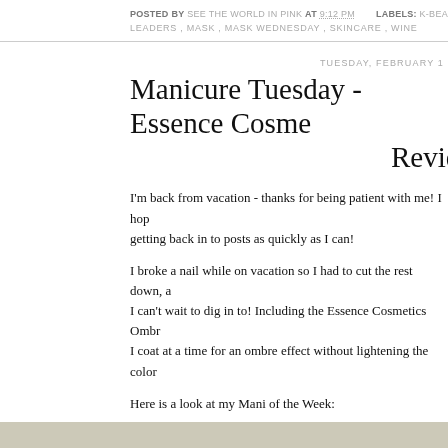POSTED BY SEE THE WORLD IN PINK AT 9:12 PM   LABELS: K-BEAUTY LEADERS , MASK , MASK WEDNESDAY , SKINCARE , WINE
TUESDAY, FEBRUARY
Manicure Tuesday - Essence Cosme Review
I'm back from vacation - thanks for being patient with me! I hop getting back in to posts as quickly as I can!
I broke a nail while on vacation so I had to cut the rest down, a I can't wait to dig in to! Including the Essence Cosmetics Ombr I coat at a time for an ombre effect without lightening the color
Here is a look at my Mani of the Week:
[Figure (photo): A close-up photograph of a fingernail with a light/white nail polish, shown against a beige/tan background.]